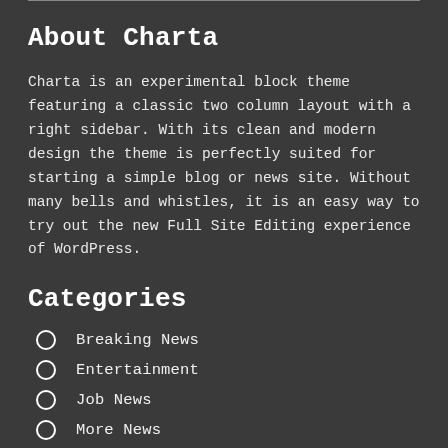About Charta
Charta is an experimental block theme featuring a classic two column layout with a right sidebar. With its clean and modern design the theme is perfectly suited for starting a simple blog or news site. Without many bells and whistles, it is an easy way to try out the new Full Site Editing experience of WordPress.
Categories
Breaking News
Entertainment
Job News
More News